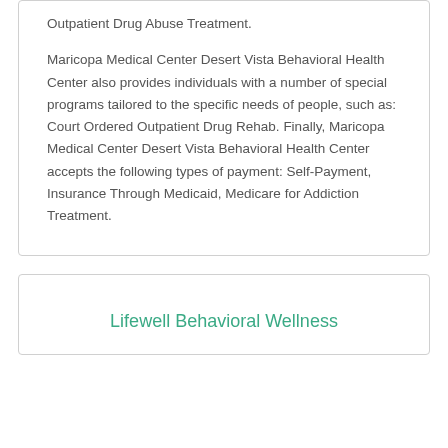Outpatient Drug Abuse Treatment.
Maricopa Medical Center Desert Vista Behavioral Health Center also provides individuals with a number of special programs tailored to the specific needs of people, such as: Court Ordered Outpatient Drug Rehab. Finally, Maricopa Medical Center Desert Vista Behavioral Health Center accepts the following types of payment: Self-Payment, Insurance Through Medicaid, Medicare for Addiction Treatment.
Lifewell Behavioral Wellness